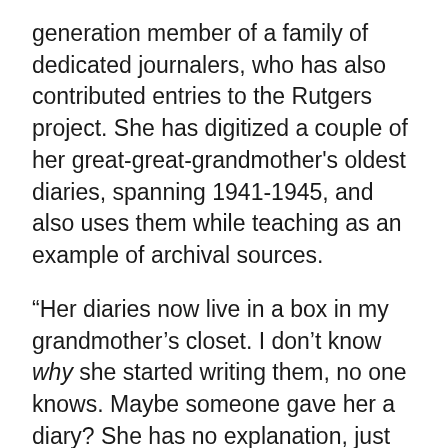generation member of a family of dedicated journalers, who has also contributed entries to the Rutgers project. She has digitized a couple of her great-great-grandmother's oldest diaries, spanning 1941-1945, and also uses them while teaching as an example of archival sources.
“Her diaries now live in a box in my grandmother’s closet. I don’t know why she started writing them, no one knows. Maybe someone gave her a diary? She has no explanation, just starts like, hello diary,” Truschke recalls.
Along with being a rich source of family history, the diaries have helped serve a higher purpose: proving everyone else in the house wrong. “It’s kind of fun — we definitely have had family arguments like, ‘Where